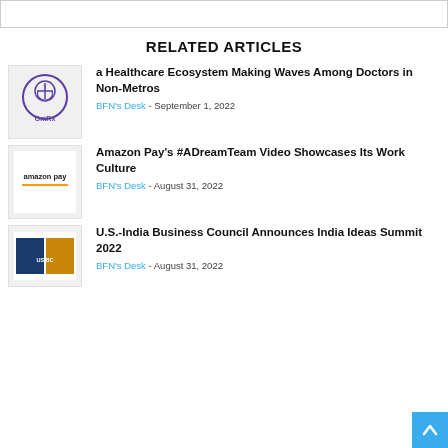RELATED ARTICLES
a Healthcare Ecosystem Making Waves Among Doctors in Non-Metros
BFN's Desk - September 1, 2022
Amazon Pay's #ADreamTeam Video Showcases Its Work Culture
BFN's Desk - August 31, 2022
U.S.-India Business Council Announces India Ideas Summit 2022
BFN's Desk - August 31, 2022